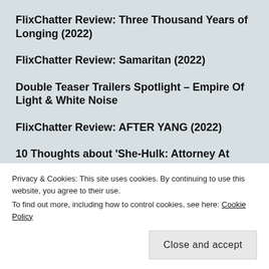FlixChatter Review: Three Thousand Years of Longing (2022)
FlixChatter Review: Samaritan (2022)
Double Teaser Trailers Spotlight – Empire Of Light & White Noise
FlixChatter Review: AFTER YANG (2022)
10 Thoughts about 'She-Hulk: Attorney At Law' episode 1
Privacy & Cookies: This site uses cookies. By continuing to use this website, you agree to their use.
To find out more, including how to control cookies, see here: Cookie Policy
Close and accept